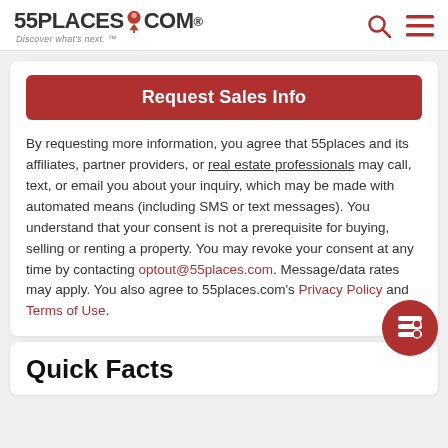55PLACES.COM Discover what's next.
Request Sales Info
By requesting more information, you agree that 55places and its affiliates, partner providers, or real estate professionals may call, text, or email you about your inquiry, which may be made with automated means (including SMS or text messages). You understand that your consent is not a prerequisite for buying, selling or renting a property. You may revoke your consent at any time by contacting optout@55places.com. Message/data rates may apply. You also agree to 55places.com's Privacy Policy and Terms of Use.
Quick Facts